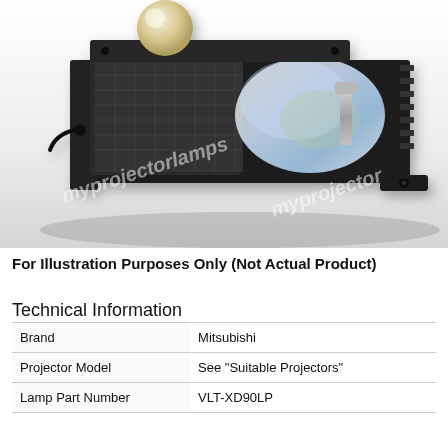[Figure (photo): Photo of a projector lamp module in a black housing, with a bright arc lamp bulb visible. Watermark text 'myprojectorlamps' and 'myprojector' visible diagonally across the image.]
For Illustration Purposes Only (Not Actual Product)
Technical Information
| Brand | Mitsubishi |
| Projector Model | See "Suitable Projectors" |
| Lamp Part Number | VLT-XD90LP |